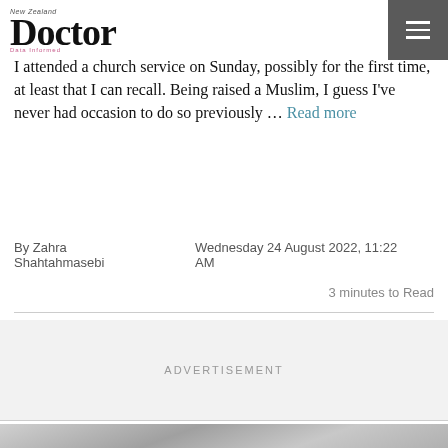New Zealand Doctor
I attended a church service on Sunday, possibly for the first time, at least that I can recall. Being raised a Muslim, I guess I've never had occasion to do so previously … Read more
By Zahra Shahtahmasebi
Wednesday 24 August 2022, 11:22 AM
3 minutes to Read
ADVERTISEMENT
[Figure (photo): Black and white close-up photo, blurred surface]